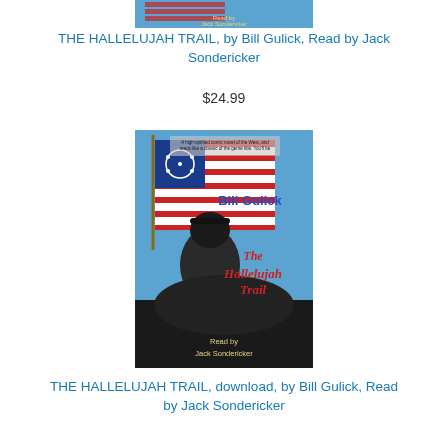[Figure (photo): Partial book cover at top of page showing 'Read by Jack Sondericker' text]
THE HALLELUJAH TRAIL, by Bill Gulick, Read by Jack Sondericker
$24.99
[Figure (photo): Book cover of 'The Hallelujah Trail' by Bill Gulick, showing a Civil War era soldier on horseback with an American flag in the background. Text reads 'Bill Gulick', 'The Hallelujah Trail', 'Read by Jack Sondericker'. Has blurb text at top.]
THE HALLELUJAH TRAIL, download, by Bill Gulick, Read by Jack Sondericker